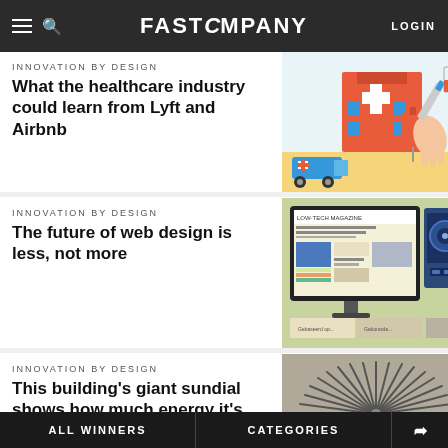FAST COMPANY | LOGIN
INNOVATION BY DESIGN
What the healthcare industry could learn from Lyft and Airbnb
[Figure (illustration): Colorful illustration of healthcare themed imagery: hospital building, ambulance, medical equipment, syringe, blood bag, with flat geometric style in orange, red, blue and teal colors.]
INNOVATION BY DESIGN
The future of web design is less, not more
[Figure (screenshot): Screenshot of Low-Tech Magazine website on a desktop monitor, showing minimalist web design with article thumbnails.]
INNOVATION BY DESIGN
This building's giant sundial shows how much energy it's making
[Figure (photo): Photo of a circular sundial pattern on a building or surface, showing radiating lines like clock hands against a grey background.]
ALL WINNERS   CATEGORIES